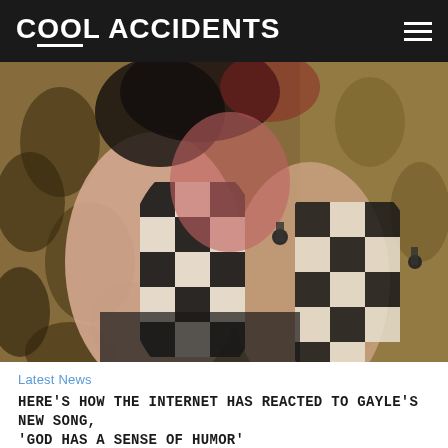COOL ACCIDENTS
[Figure (photo): Person lying on a floral patterned sofa/couch wearing checkered/harlequin pattern thigh-high stockings with garter clips, dark hair visible, warm toned vintage photograph style]
Latest News
HERE'S HOW THE INTERNET HAS REACTED TO GAYLE'S NEW SONG, 'GOD HAS A SENSE OF HUMOR'